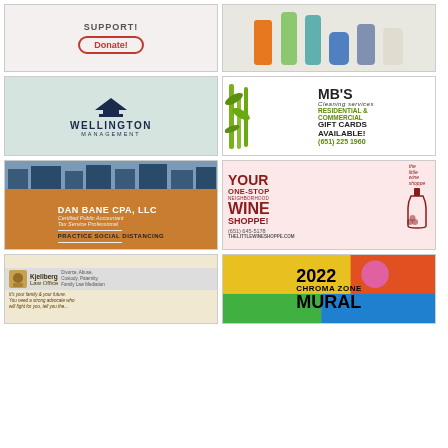[Figure (advertisement): Support/Donate button ad with red outlined donate button on light background]
[Figure (photo): Photo of colorful ceramic bud vases in various heights]
[Figure (logo): Wellington Management logo with building icon on mint/sage green background]
[Figure (advertisement): MB's Cleaning Services ad - Residential & Commercial, Gift Cards Available, (651) 225 1960]
[Figure (advertisement): Dan Bane CPA, LLC - Certified Public Accountant, Tax Service Professional, Practice Social Distancing]
[Figure (advertisement): The Little Wine Shoppe - Your One-Stop Neighborhood Wine Shoppe! (651) 645-5178 thelittlewineshoppe.com]
[Figure (advertisement): Kjellberg Law Office - Divorce, Abuse, Custody, Paternity, Family Law Mediation]
[Figure (advertisement): 2022 Chroma Zone Mural festival advertisement with colorful background]